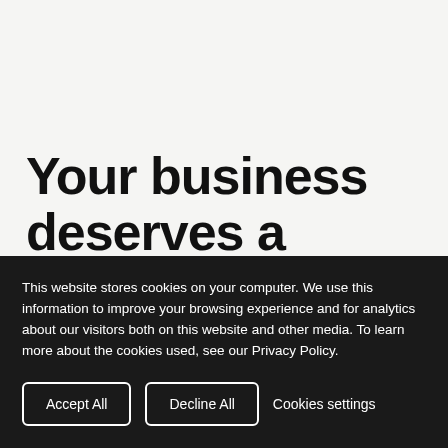Your business deserves a predictable
This website stores cookies on your computer. We use this information to improve your browsing experience and for analytics about our visitors both on this website and other media. To learn more about the cookies used, see our Privacy Policy.